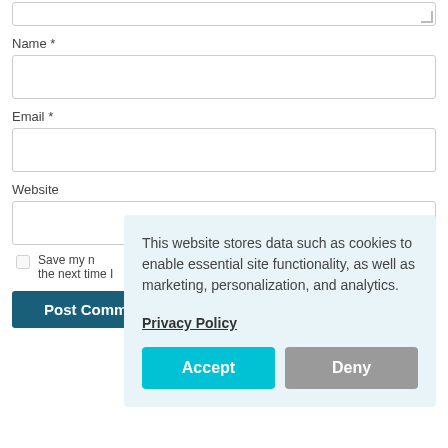[Figure (screenshot): A partially visible textarea input field with resize handle at bottom right]
Name *
[Figure (screenshot): Name text input field (empty)]
Email *
[Figure (screenshot): Email text input field (empty)]
Website
[Figure (screenshot): Website text input field (empty)]
Save my n... the next time I...
Post Comment
This website stores data such as cookies to enable essential site functionality, as well as marketing, personalization, and analytics.
Privacy Policy
Accept
Deny